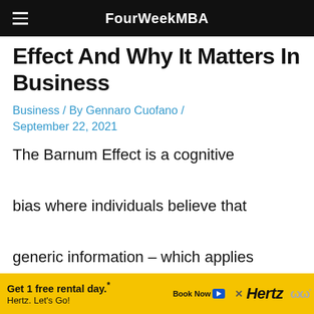FourWeekMBA
Effect And Why It Matters In Business
Business / By Gennaro Cuofano / September 22, 2021
The Barnum Effect is a cognitive bias where individuals believe that generic information – which applies to most people – is specifically tailored for themselves
[Figure (other): Hertz advertisement banner: Get 1 free rental day.* Hertz. Let's Go! Book Now button.]